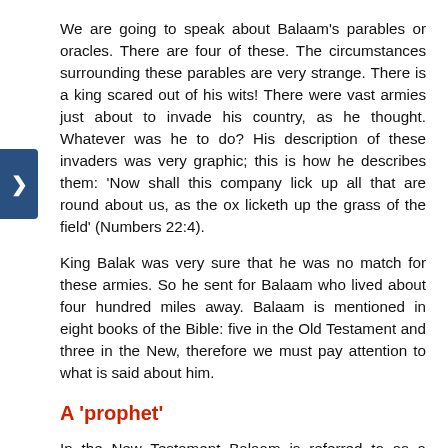We are going to speak about Balaam's parables or oracles. There are four of these. The circumstances surrounding these parables are very strange. There is a king scared out of his wits! There were vast armies just about to invade his country, as he thought. Whatever was he to do? His description of these invaders was very graphic; this is how he describes them: 'Now shall this company lick up all that are round about us, as the ox licketh up the grass of the field' (Numbers 22:4).
King Balak was very sure that he was no match for these armies. So he sent for Balaam who lived about four hundred miles away. Balaam is mentioned in eight books of the Bible: five in the Old Testament and three in the New, therefore we must pay attention to what is said about him.
A 'prophet'
In the New Testament Balaam is referred to as a prophet (2 Peter 2:15). A very strange prophet indeed! He is also described as a soothsayer, making contact with evil spirits. We read that he sought for enchantments. It was